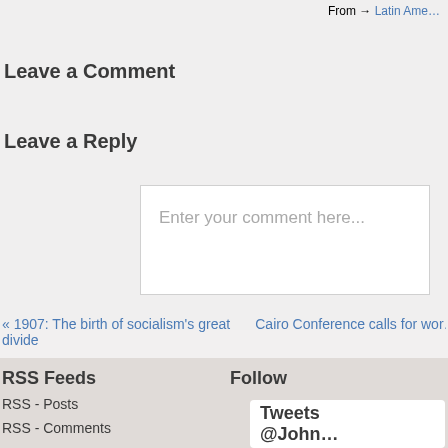From → Latin Ame…
Leave a Comment
Leave a Reply
Enter your comment here...
« 1907: The birth of socialism's great divide   Cairo Conference calls for wor…
RSS Feeds
RSS - Posts
RSS - Comments
Follow
Tweets @John…